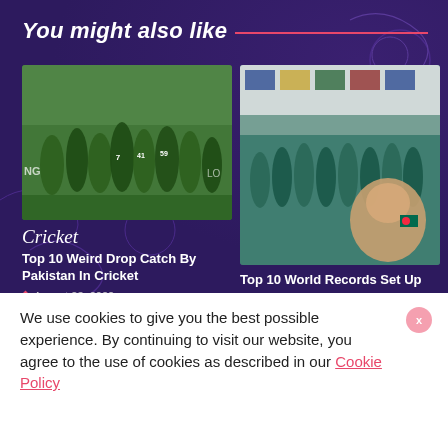You might also like
[Figure (photo): Pakistan cricket team players in green jerseys huddled together on a field]
Cricket
Top 10 Weird Drop Catch By Pakistan In Cricket
August 23, 2022
[Figure (photo): Pakistan cricket team selfie photo with players in teal jerseys]
Top 10 World Records Set Up By Pakistan In International Cricket
August 23, 2022
We use cookies to give you the best possible experience. By continuing to visit our website, you agree to the use of cookies as described in our Cookie Policy